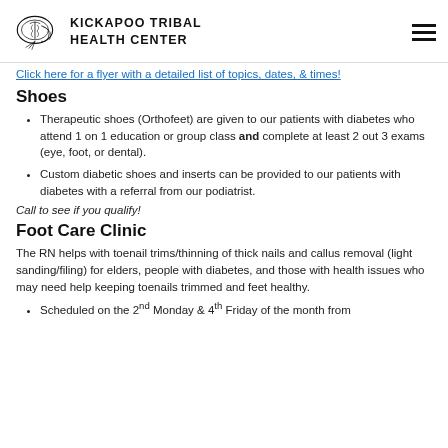KICKAPOO TRIBAL HEALTH CENTER
Click here for a flyer with a detailed list of topics, dates, & times!
Shoes
Therapeutic shoes (Orthofeet) are given to our patients with diabetes who attend 1 on 1 education or group class and complete at least 2 out 3 exams (eye, foot, or dental).
Custom diabetic shoes and inserts can be provided to our patients with diabetes with a referral from our podiatrist.
Call to see if you qualify!
Foot Care Clinic
The RN helps with toenail trims/thinning of thick nails and callus removal (light sanding/filing) for elders, people with diabetes, and those with health issues who may need help keeping toenails trimmed and feet healthy.
Scheduled on the 2nd Monday & 4th Friday of the month from